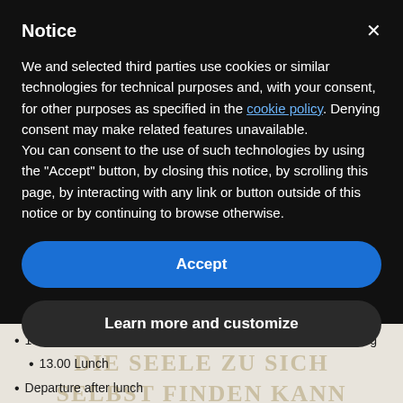Notice
We and selected third parties use cookies or similar technologies for technical purposes and, with your consent, for other purposes as specified in the cookie policy. Denying consent may make related features unavailable.
You can consent to the use of such technologies by using the "Accept" button, by closing this notice, by scrolling this page, by interacting with any link or button outside of this notice or by continuing to browse otherwise.
Accept
Learn more and customize
10.30 – 12.00 Chanting , yoga soft ,Guided Meditation, Sharing
13.00 Lunch
Departure after lunch